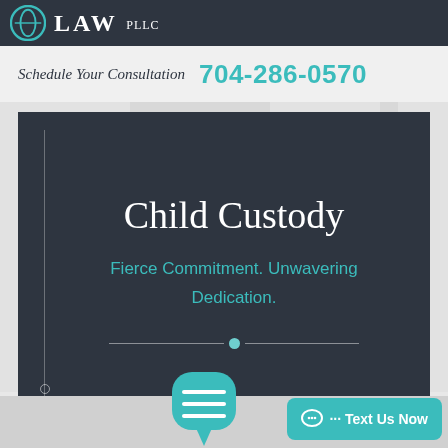LAW PLLC
Schedule Your Consultation  704-286-0570
Child Custody
Fierce Commitment. Unwavering Dedication.
[Figure (illustration): Chat bubble icon and Text Us Now button at bottom of law firm website screenshot]